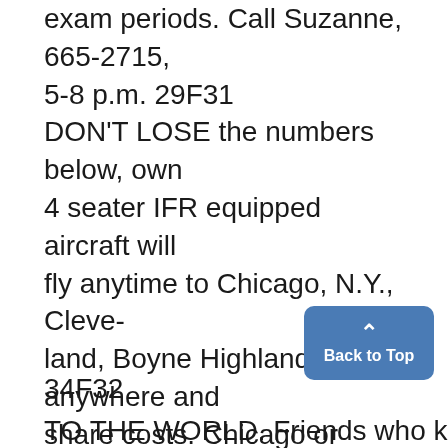experiment will continue during all exam periods. Call Suzanne, 665-2715, 5-8 p.m. 29F31
DON'T LOSE the numbers below, own 4 seater IFR equipped aircraft will fly anytime to Chicago, N.Y., Cleveland, Boyne Highlands, anywhere and share costs. Chicago or Boyne 2 hr. 1 way; $15-20 rd. trip (approx.). Call Bob Salstrom, 665-8489 anytime after 6 wait for answering service. 35Ftc
75° AND SUNNY
THE WILDFLOWER-516 E. Willia
34F32
TO THE WORLD. Friends who know